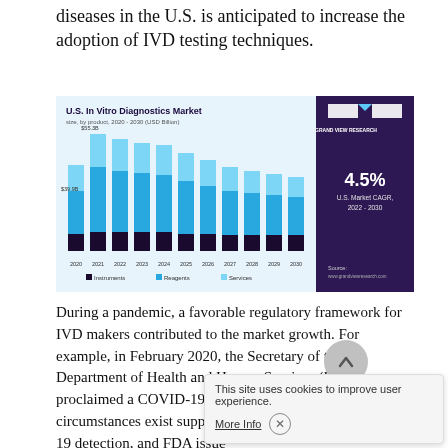diseases in the U.S. is anticipated to increase the adoption of IVD testing techniques.
[Figure (stacked-bar-chart): U.S. In Vitro Diagnostics Market]
During a pandemic, a favorable regulatory framework for IVD makers contributed to the market growth. For example, in February 2020, the Secretary of the Department of Health and Human Services (HHS) proclaimed a COVID-19 outbreak, where emergency circumstances exist supporting... 19 detection, and FDA issue... Authorizations (EUAs) for multiple test kits. Such